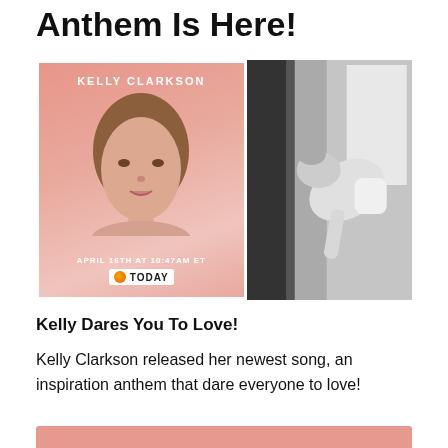Anthem Is Here!
[Figure (photo): Composite image: left side shows a pink Kelly Clarkson album art with her face, artist name 'KELLY CLARKSON', text 'APRIL 16TH AT 10:47AM ET' and TODAY show logo; right side shows a black-and-white photo of a woman leaning over, writing or drawing.]
Kelly Dares You To Love!
Kelly Clarkson released her newest song, an inspiration anthem that dare everyone to love!